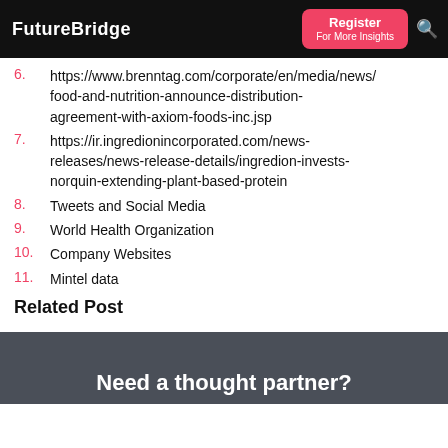FutureBridge | Register For More Insights
6. https://www.brenntag.com/corporate/en/media/news/food-and-nutrition-announce-distribution-agreement-with-axiom-foods-inc.jsp
7. https://ir.ingredionincorporated.com/news-releases/news-release-details/ingredion-invests-norquin-extending-plant-based-protein
8. Tweets and Social Media
9. World Health Organization
10. Company Websites
11. Mintel data
Related Post
Need a thought partner?